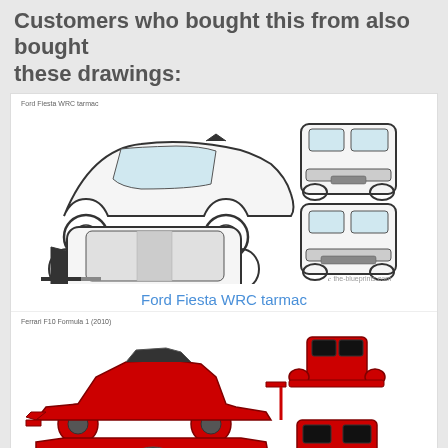Customers who bought this from also bought these drawings:
[Figure (illustration): Ford Fiesta WRC tarmac blueprint showing side view, front view, top view, and rear view in outline/line drawing style. Watermark: the-blueprints.com]
Ford Fiesta WRC tarmac
[Figure (illustration): Ferrari F10 Formula 1 2010 blueprint showing side view, front view, top view, and rear view filled in red. Watermark: the-blueprints.com]
Ferrari F10 Formula 1
2010
[Figure (illustration): Jeep Wrangler Rubicon (2010) blueprint showing partial side and front views (cropped at bottom of page)]